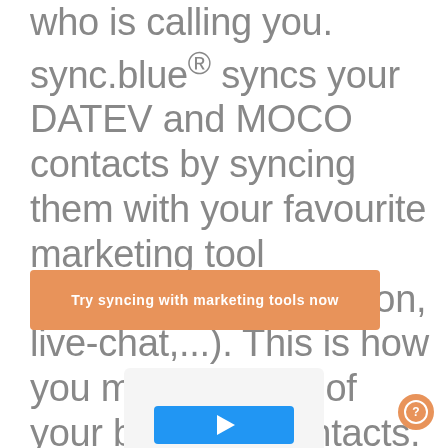who is calling you. sync.blue® syncs your DATEV and MOCO contacts by syncing them with your favourite marketing tool (newsletter, automation, live-chat,...). This is how you make money of your business contacts.
Try syncing with marketing tools now
[Figure (screenshot): Partial screenshot showing a blue button with a play/cursor icon, cropped at the bottom of the page]